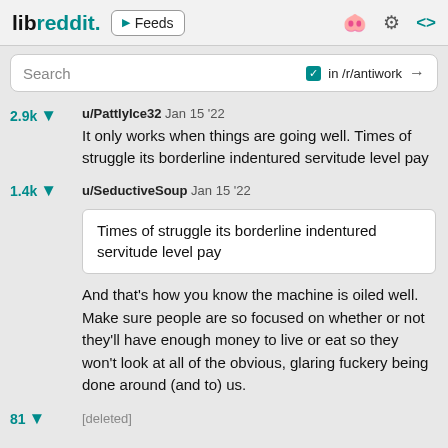libreddit. Feeds
Search  in /r/antiwork →
2.9k  u/PattlyIce32  Jan 15 '22
It only works when things are going well. Times of struggle its borderline indentured servitude level pay
1.4k  u/SeductiveSoup  Jan 15 '22
Times of struggle its borderline indentured servitude level pay
And that's how you know the machine is oiled well. Make sure people are so focused on whether or not they'll have enough money to live or eat so they won't look at all of the obvious, glaring fuckery being done around (and to) us.
81